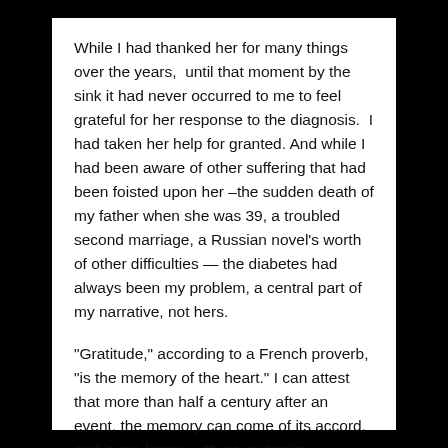While I had thanked her for many things over the years,  until that moment by the sink it had never occurred to me to feel grateful for her response to the diagnosis.  I had taken her help for granted. And while I had been aware of other suffering that had been foisted upon her –the sudden death of my father when she was 39, a troubled second marriage, a Russian novel's worth of other difficulties — the diabetes had always been my problem, a central part of my narrative, not hers.
“Gratitude,” according to a French proverb, “is the memory of the heart.” I can attest that more than half a century after an event, the memory can come of its accord,  and it can linger, with no endpoint.